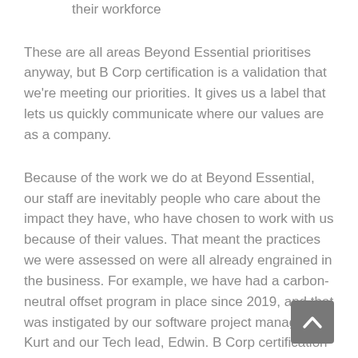their workforce
These are all areas Beyond Essential prioritises anyway, but B Corp certification is a validation that we're meeting our priorities. It gives us a label that lets us quickly communicate where our values are as a company.
Because of the work we do at Beyond Essential, our staff are inevitably people who care about the impact they have, who have chosen to work with us because of their values. That meant the practices we were assessed on were all already engrained in the business. For example, we have had a carbon-neutral offset program in place since 2019, and that was instigated by our software project manager, Kurt and our Tech lead, Edwin. B Corp certification is another